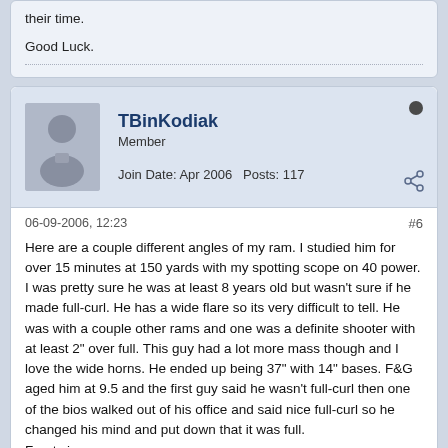their time.
Good Luck.
TBinKodiak
Member
Join Date: Apr 2006   Posts: 117
06-09-2006, 12:23
#6
Here are a couple different angles of my ram. I studied him for over 15 minutes at 150 yards with my spotting scope on 40 power. I was pretty sure he was at least 8 years old but wasn't sure if he made full-curl. He has a wide flare so its very difficult to tell. He was with a couple other rams and one was a definite shooter with at least 2" over full. This guy had a lot more mass though and I love the wide horns. He ended up being 37" with 14" bases. F&G aged him at 9.5 and the first guy said he wasn't full-curl then one of the bios walked out of his office and said nice full-curl so he changed his mind and put down that it was full.
Front view
[Figure (photo): Sky/outdoor photo strip showing blue sky with light clouds]